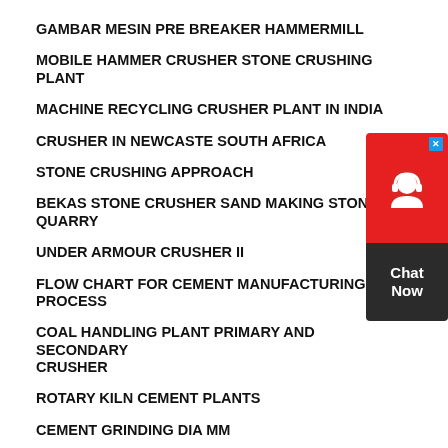GAMBAR MESIN PRE BREAKER HAMMERMILL
MOBILE HAMMER CRUSHER STONE CRUSHING PLANT
MACHINE RECYCLING CRUSHER PLANT IN INDIA
CRUSHER IN NEWCASTE SOUTH AFRICA
STONE CRUSHING APPROACH
BEKAS STONE CRUSHER SAND MAKING STONE QUARRY
UNDER ARMOUR CRUSHER II
FLOW CHART FOR CEMENT MANUFACTURING PROCESS
COAL HANDLING PLANT PRIMARY AND SECONDARY CRUSHER
ROTARY KILN CEMENT PLANTS
CEMENT GRINDING DIA MM
[Figure (other): Chat Now widget with red background showing headset icon and dark bottom section with Chat Now text, with a blue X close button]